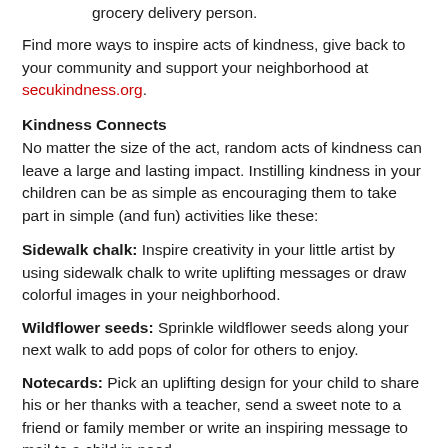grocery delivery person.
Find more ways to inspire acts of kindness, give back to your community and support your neighborhood at secukindness.org.
Kindness Connects
No matter the size of the act, random acts of kindness can leave a large and lasting impact. Instilling kindness in your children can be as simple as encouraging them to take part in simple (and fun) activities like these:
Sidewalk chalk: Inspire creativity in your little artist by using sidewalk chalk to write uplifting messages or draw colorful images in your neighborhood.
Wildflower seeds: Sprinkle wildflower seeds along your next walk to add pops of color for others to enjoy.
Notecards: Pick an uplifting design for your child to share his or her thanks with a teacher, send a sweet note to a friend or family member or write an inspiring message to mail to a child in need.
Cookie dough: For a delicious way to put a smile on